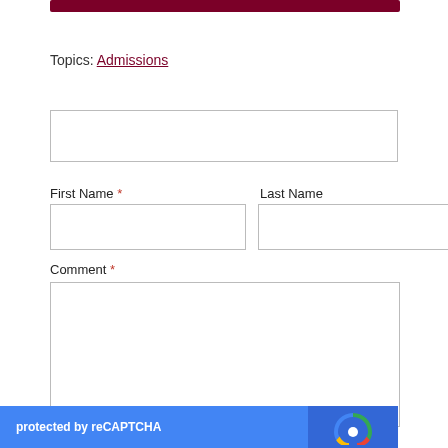[Figure (other): Dark red/maroon horizontal bar at the top of the page]
Topics: Admissions
[Figure (screenshot): Empty text input field (wide, single line)]
First Name *
Last Name
[Figure (screenshot): First Name input field (empty)]
[Figure (screenshot): Last Name input field (empty)]
Comment *
[Figure (screenshot): Comment textarea (large, empty, with resize handle)]
[Figure (screenshot): reCAPTCHA widget bar at the bottom — blue background with 'protected by reCAPTCHA' text and reCAPTCHA logo]